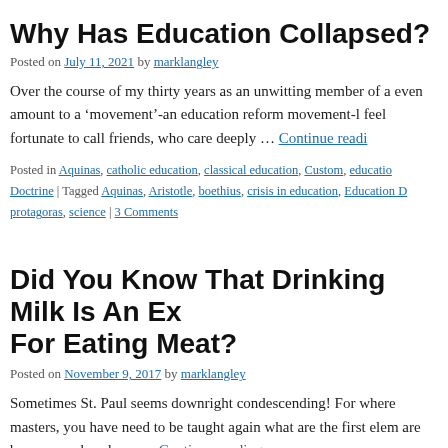Why Has Education Collapsed?
Posted on July 11, 2021 by marklangley
Over the course of my thirty years as an unwitting member of a even amount to a ‘movement’-an education reform movement-l feel fortunate to call friends, who care deeply … Continue reading
Posted in Aquinas, catholic education, classical education, Custom, education Doctrine | Tagged Aquinas, Aristotle, boethius, crisis in education, Education protagoras, science | 3 Comments
Did You Know That Drinking Milk Is An Ex For Eating Meat?
Posted on November 9, 2017 by marklangley
Sometimes St. Paul seems downright condescending! For where masters, you have need to be taught again what are the first elem are become such as have … Continue reading →
Posted in aeschylus, Aquinas, Augustine, catholic education, Heraclitus Ho